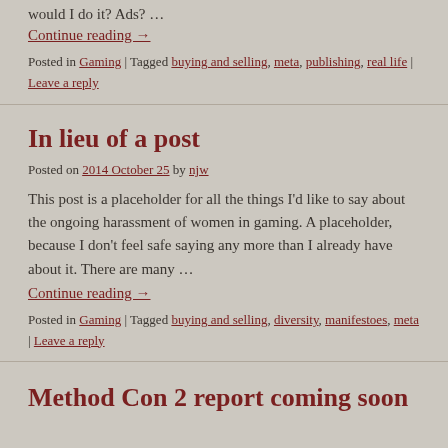would I do it? Ads? …
Continue reading →
Posted in Gaming | Tagged buying and selling, meta, publishing, real life | Leave a reply
In lieu of a post
Posted on 2014 October 25 by njw
This post is a placeholder for all the things I'd like to say about the ongoing harassment of women in gaming. A placeholder, because I don't feel safe saying any more than I already have about it. There are many …
Continue reading →
Posted in Gaming | Tagged buying and selling, diversity, manifestoes, meta | Leave a reply
Method Con 2 report coming soon